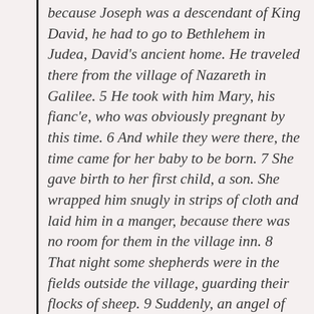because Joseph was a descendant of King David, he had to go to Bethlehem in Judea, David's ancient home. He traveled there from the village of Nazareth in Galilee. 5 He took with him Mary, his fianc'e, who was obviously pregnant by this time. 6 And while they were there, the time came for her baby to be born. 7 She gave birth to her first child, a son. She wrapped him snugly in strips of cloth and laid him in a manger, because there was no room for them in the village inn. 8 That night some shepherds were in the fields outside the village, guarding their flocks of sheep. 9 Suddenly, an angel of the Lord appeared among them, and the radiance of the Lord's glory surrounded them. They were